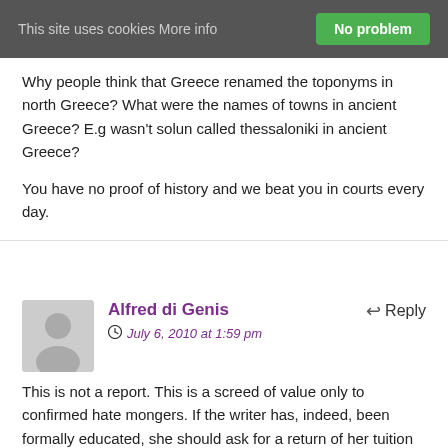This site uses cookies More info  No problem
Why people think that Greece renamed the toponyms in north Greece? What were the names of towns in ancient Greece? E.g wasn't solun called thessaloniki in ancient Greece?
You have no proof of history and we beat you in courts every day.
Alfred di Genis
July 6, 2010 at 1:59 pm
This is not a report. This is a screed of value only to confirmed hate mongers. If the writer has, indeed, been formally educated, she should ask for a return of her tuition and the school should happily give it to her. Something in the relationship